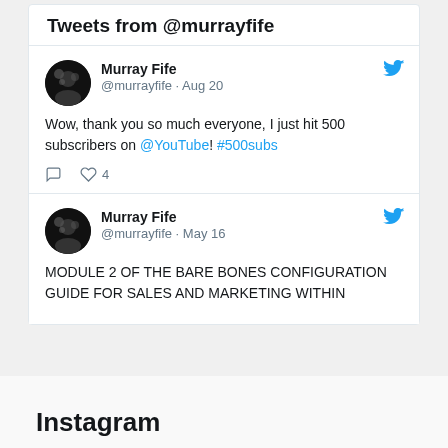Tweets from @murrayfife
Murray Fife @murrayfife · Aug 20
Wow, thank you so much everyone, I just hit 500 subscribers on @YouTube! #500subs
Murray Fife @murrayfife · May 16
MODULE 2 OF THE BARE BONES CONFIGURATION GUIDE FOR SALES AND MARKETING WITHIN
Instagram